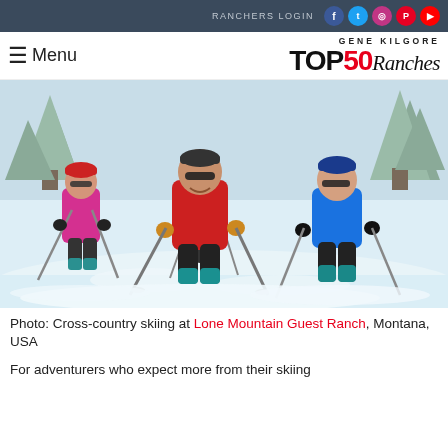RANCHERS LOGIN
[Figure (photo): Three cross-country skiers skiing through snow-covered terrain. Left skier wearing pink/magenta jacket and red hat. Center skier in red jacket and dark hat with sunglasses, smiling. Right skier in blue jacket and blue hat with sunglasses. Background shows snow-covered trees.]
Photo: Cross-country skiing at Lone Mountain Guest Ranch, Montana, USA
For adventurers who expect more from their skiing